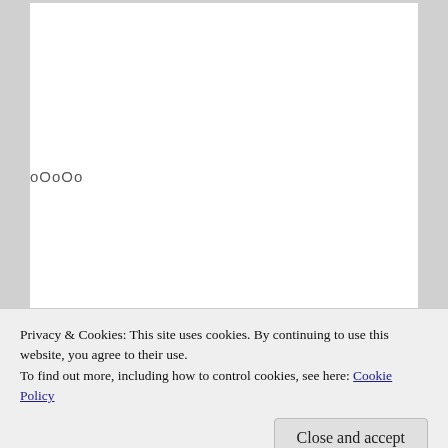oOoOo
Sponsored Content
[Figure (photo): Elderly man bending forward, partially visible, with pink curtains and shelves in background]
Privacy & Cookies: This site uses cookies. By continuing to use this website, you agree to their use.
To find out more, including how to control cookies, see here: Cookie Policy
Close and accept